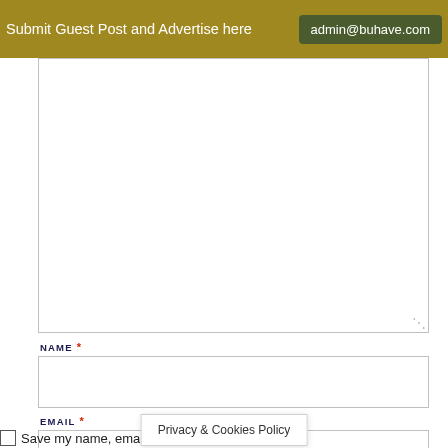Submit Guest Post and Advertise here   admin@buhave.com
[Figure (screenshot): Comment form textarea (empty), partially visible at top of content area]
NAME *
[Figure (screenshot): Name input text field (empty)]
EMAIL *
[Figure (screenshot): Email input text field (empty)]
WEBSITE
[Figure (screenshot): Website input text field (empty)]
Save my name, email, a... ser for the
Privacy & Cookies Policy